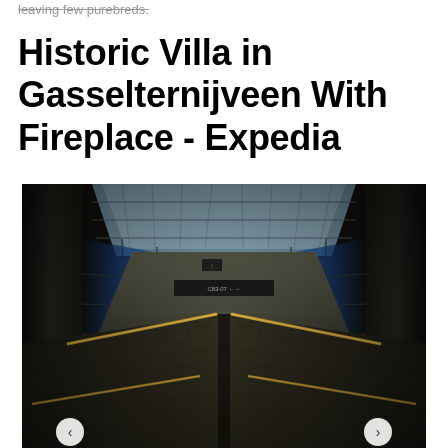leaving few purebreds.
Historic Villa in Gasselternijveen With Fireplace - Expedia
[Figure (photo): Interior of a large modern transit station or airport terminal showing two escalators leading upward, with a glass skylight ceiling, concrete pillars on both sides, and glass walls revealing sky/exterior. Dark, dramatic photography with warm light strips on the escalator railings.]